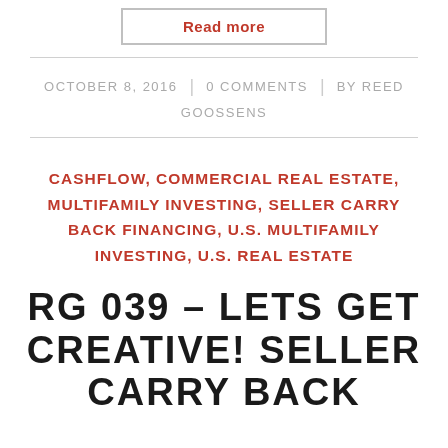Read more
OCTOBER 8, 2016 | 0 COMMENTS | BY REED GOOSSENS
CASHFLOW, COMMERCIAL REAL ESTATE, MULTIFAMILY INVESTING, SELLER CARRY BACK FINANCING, U.S. MULTIFAMILY INVESTING, U.S. REAL ESTATE
RG 039 – LETS GET CREATIVE! SELLER CARRY BACK